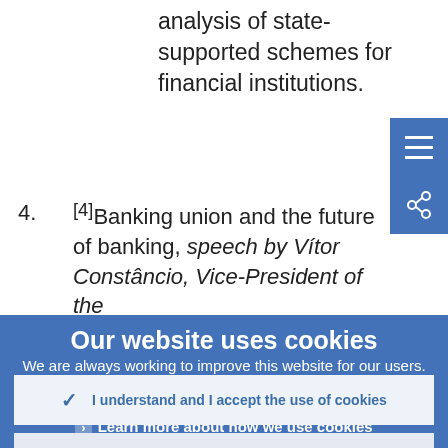analysis of state-supported schemes for financial institutions.
[4]Banking union and the future of banking, speech by Vítor Constâncio, Vice-President of the
Our website uses cookies
We are always working to improve this website for our users. To do this, we use the anonymous data provided by cookies.
› Learn more about how we use cookies
✓ I understand and I accept the use of cookies
✕ I do not accept the use of cookies